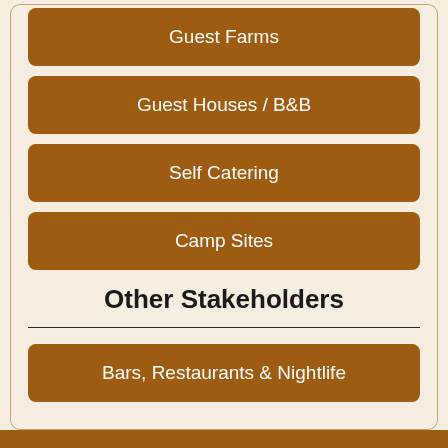Guest Farms
Guest Houses / B&B
Self Catering
Camp Sites
Other Stakeholders
Bars, Restaurants & Nightlife